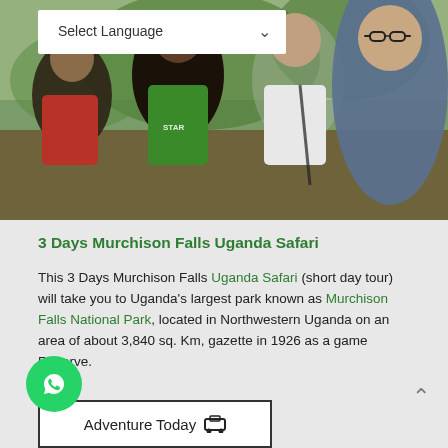[Figure (photo): Group selfie photo of tourists at Murchison Falls, Uganda. Several people smiling at camera including a person in red shirt, person in green shirt with Star logo, woman in white top, and man with glasses in gray shirt.]
Select Language
3 Days Murchison Falls Uganda Safari
This 3 Days Murchison Falls Uganda Safari (short day tour) will take you to Uganda's largest park known as Murchison Falls National Park, located in Northwestern Uganda on an area of about 3,840 sq. Km, gazette in 1926 as a game Reserve.
[Figure (other): WhatsApp contact button (green circle with phone icon)]
Adventure Today